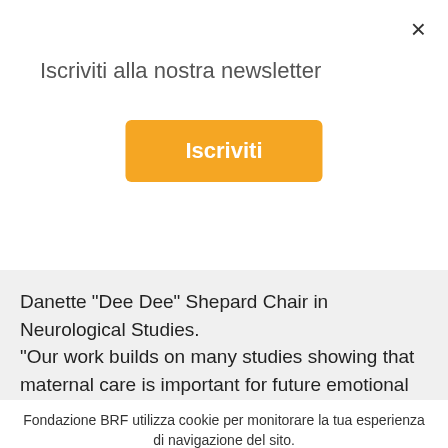×
Iscriviti alla nostra newsletter
Iscriviti
Danette "Dee Dee" Shepard Chair in Neurological Studies. "Our work builds on many studies showing that maternal care is important for future emotional health. Importantly, it shows that it is not how much maternal care that
Fondazione BRF utilizza cookie per monitorare la tua esperienza di navigazione del sito. Per maggiori informazioni su come utilizzare e gestire i cookie, consulta la nostra informativa sui cookies.
ACCETTO